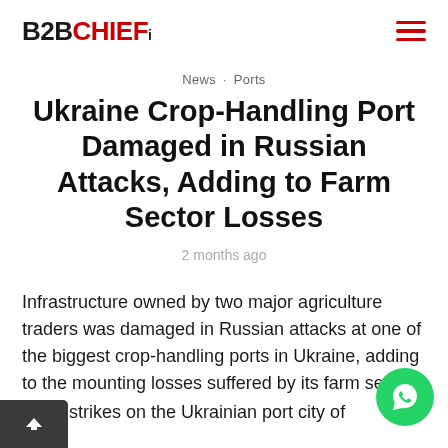B2BCHIEFT
News · Ports
Ukraine Crop-Handling Port Damaged in Russian Attacks, Adding to Farm Sector Losses
2 months ago
Infrastructure owned by two major agriculture traders was damaged in Russian attacks at one of the biggest crop-handling ports in Ukraine, adding to the mounting losses suffered by its farm sec
ket strikes on the Ukrainian port city of